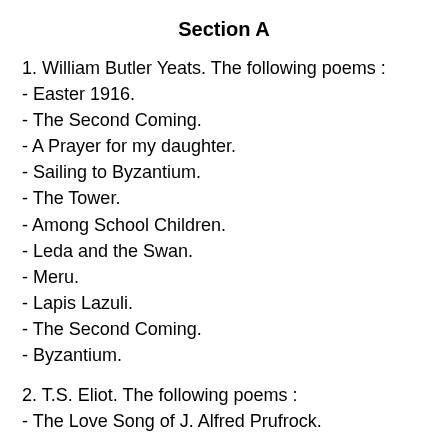Section A
1. William Butler Yeats. The following poems :
- Easter 1916.
- The Second Coming.
- A Prayer for my daughter.
- Sailing to Byzantium.
- The Tower.
- Among School Children.
- Leda and the Swan.
- Meru.
- Lapis Lazuli.
- The Second Coming.
- Byzantium.
2. T.S. Eliot. The following poems :
- The Love Song of J. Alfred Prufrock.